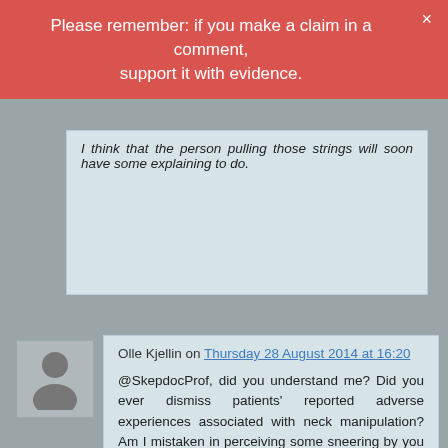Please remember: if you make a claim in a comment, support it with evidence.
I think that the person pulling those strings will soon have some explaining to do.
Olle Kjellin on Thursday 28 August 2014 at 16:20
@SkepdocProf, did you understand me? Did you ever dismiss patients' reported adverse experiences associated with neck manipulation? Am I mistaken in perceiving some sneering by you at them?
This website uses necessary cookies to make it work and to remember your preferences. Click on 'Cookie settings' to control your consent for other cookies or click on 'Accept all' to consent to the use of all cookies. By continuing to browse this website you are agreeing to our Privacy policy.